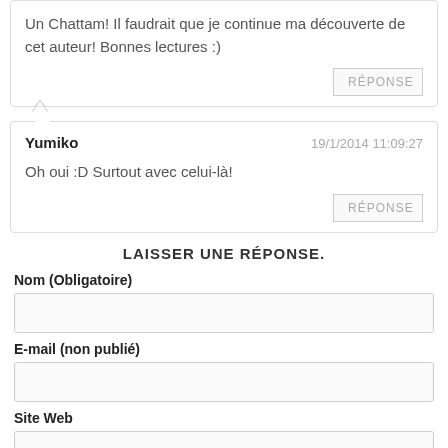Un Chattam! Il faudrait que je continue ma découverte de cet auteur! Bonnes lectures :)
RÉPONSE
Yumiko    19/1/2014 11:09:27
Oh oui :D Surtout avec celui-là!
RÉPONSE
LAISSER UNE RÉPONSE.
Nom (Obligatoire)
E-mail (non publié)
Site Web
Commentaire (Obligatoire)